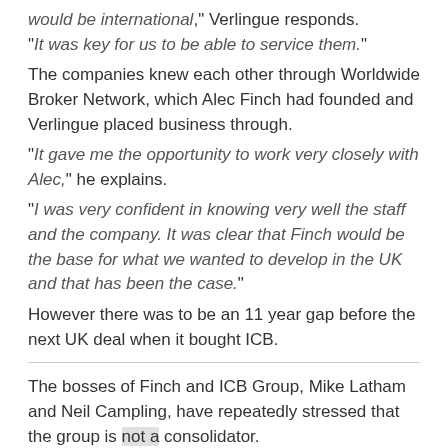“would be international,” Verlingue responds. “It was key for us to be able to service them.”
The companies knew each other through Worldwide Broker Network, which Alec Finch had founded and Verlingue placed business through.
“It gave me the opportunity to work very closely with Alec,” he explains.
“I was very confident in knowing very well the staff and the company. It was clear that Finch would be the base for what we wanted to develop in the UK and that has been the case.”
However there was to be an 11 year gap before the next UK deal when it bought ICB.
The bosses of Finch and ICB Group, Mike Latham and Neil Campling, have repeatedly stressed that the group is not a consolidator.